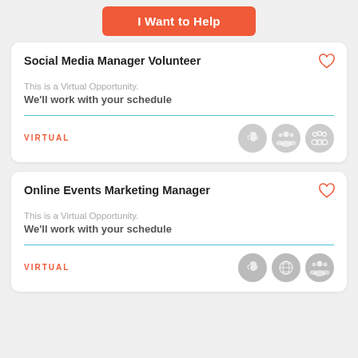I Want to Help
Social Media Manager Volunteer
This is a Virtual Opportunity.
We'll work with your schedule
VIRTUAL
Online Events Marketing Manager
This is a Virtual Opportunity.
We'll work with your schedule
VIRTUAL